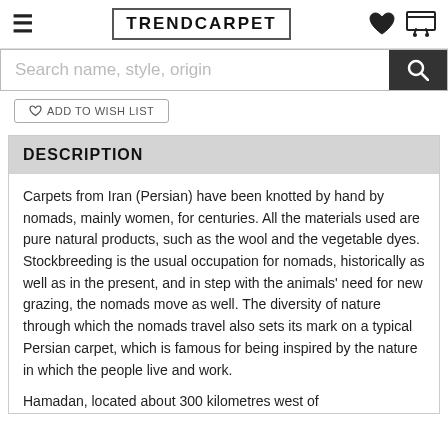TRENDCARPET
Search name, style, origin
ADD TO WISH LIST
DESCRIPTION
Carpets from Iran (Persian) have been knotted by hand by nomads, mainly women, for centuries. All the materials used are pure natural products, such as the wool and the vegetable dyes. Stockbreeding is the usual occupation for nomads, historically as well as in the present, and in step with the animals' need for new grazing, the nomads move as well. The diversity of nature through which the nomads travel also sets its mark on a typical Persian carpet, which is famous for being inspired by the nature in which the people live and work.
Hamadan, located about 300 kilometres west of